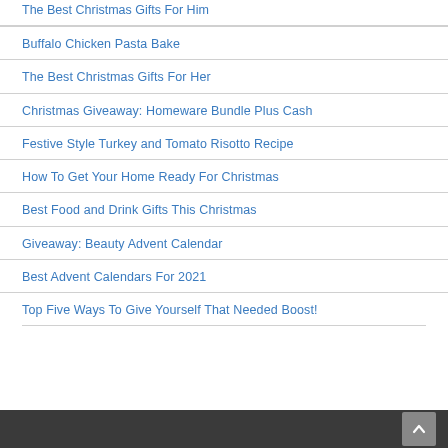The Best Christmas Gifts For Him
Buffalo Chicken Pasta Bake
The Best Christmas Gifts For Her
Christmas Giveaway: Homeware Bundle Plus Cash
Festive Style Turkey and Tomato Risotto Recipe
How To Get Your Home Ready For Christmas
Best Food and Drink Gifts This Christmas
Giveaway: Beauty Advent Calendar
Best Advent Calendars For 2021
Top Five Ways To Give Yourself That Needed Boost!